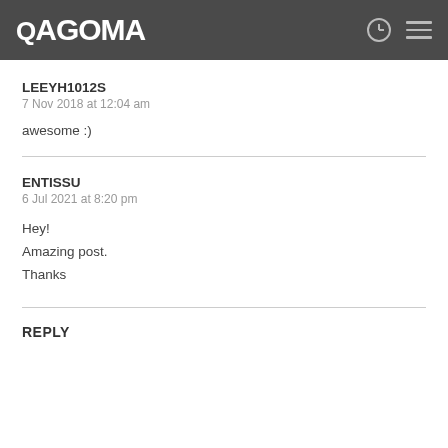QAGOMA
LEEYH1012S
7 Nov 2018 at 12:04 am

awesome :)
ENTISSU
6 Jul 2021 at 8:20 pm

Hey!
Amazing post.
Thanks
REPLY